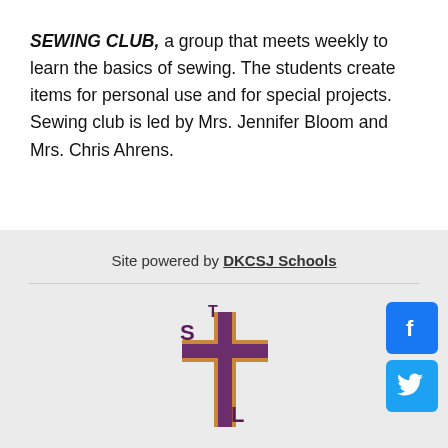SEWING CLUB, a group that meets weekly to learn the basics of sewing. The students create items for personal use and for special projects. Sewing club is led by Mrs. Jennifer Bloom and Mrs. Chris Ahrens.
Site powered by DKCSJ Schools
[Figure (logo): School logo with cross and letters S, T, L in maroon and gold, along with Facebook and Twitter social media icons]